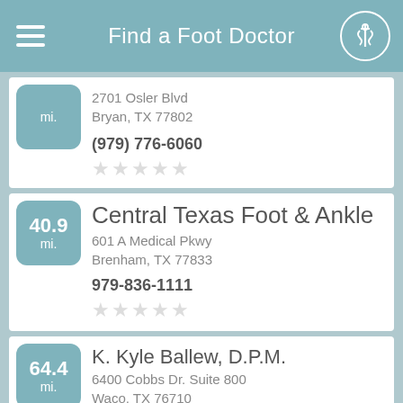Find a Foot Doctor
2701 Osler Blvd
Bryan, TX 77802
(979) 776-6060
[Figure (other): 5 empty star rating]
40.9 mi.
Central Texas Foot & Ankle
601 A Medical Pkwy
Brenham, TX 77833
979-836-1111
[Figure (other): 5 empty star rating]
64.4 mi.
K. Kyle Ballew, D.P.M.
6400 Cobbs Dr. Suite 800
Waco, TX 76710